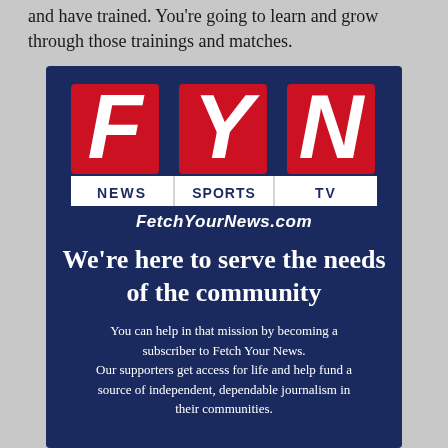and have trained. You're going to learn and grow through those trainings and matches.
[Figure (logo): FYN (Fetch Your News) logo on dark navy background with red block letters F, Y, N and white NEWS SPORTS TV bar and FetchYourNews.com website]
We're here to serve the needs of the community
You can help in that mission by becoming a subscriber to Fetch Your News. Our supporters get access for life and help fund a source of independent, dependable journalism in their communities.